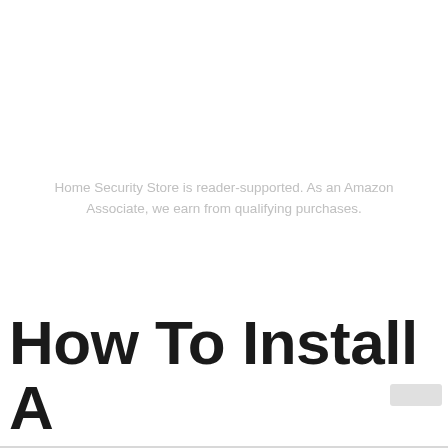Home Security Store is reader-supported. As an Amazon Associate, we earn from qualifying purchases.
How To Install A Wireless Security